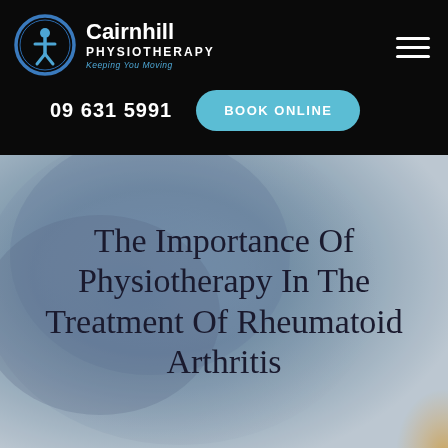[Figure (logo): Cairnhill Physiotherapy logo with circular icon showing a person figure and blue ring]
Cairnhill PHYSIOTHERAPY — Keeping You Moving | 09 631 5991 | BOOK ONLINE
[Figure (photo): Blurred background photo of hands/joints suggesting arthritis treatment, blue-grey tones]
The Importance Of Physiotherapy In The Treatment Of Rheumatoid Arthritis